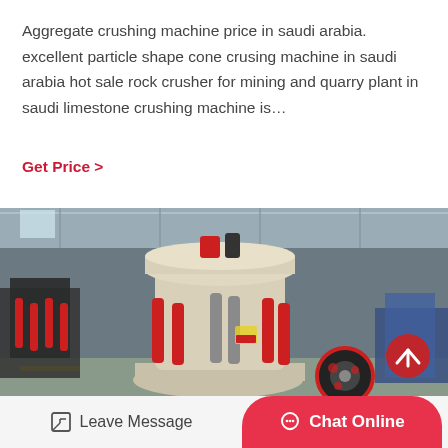Aggregate crushing machine price in saudi arabia. excellent particle shape cone crusing machine in saudi arabia hot sale rock crusher for mining and quarry plant in saudi limestone crushing machine is…
Get Price  >
[Figure (photo): Industrial cone crusher machines in a factory/warehouse setting. Large cream/white colored cone crushers with red hydraulic cylinders visible, arranged in a row on a concrete floor inside a large industrial building with steel roof structure.]
Leave Message
Chat Online